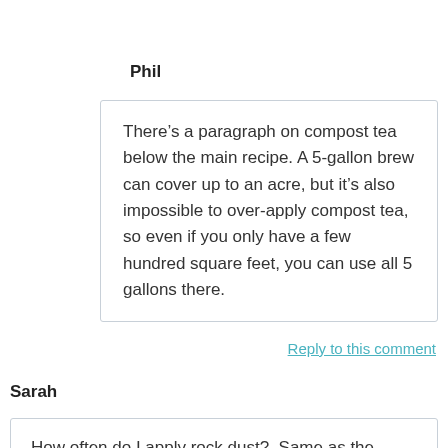Phil
There’s a paragraph on compost tea below the main recipe. A 5-gallon brew can cover up to an acre, but it’s also impossible to over-apply compost tea, so even if you only have a few hundred square feet, you can use all 5 gallons there.
Reply to this comment
Sarah
How often do I apply rock dust?. Same as the calcium carbonate? 2-4 times per year?